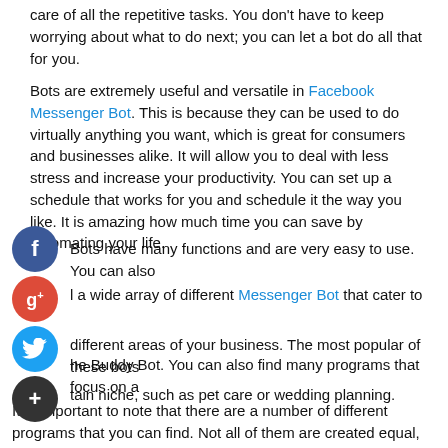care of all the repetitive tasks. You don't have to keep worrying about what to do next; you can let a bot do all that for you.
Bots are extremely useful and versatile in Facebook Messenger Bot. This is because they can be used to do virtually anything you want, which is great for consumers and businesses alike. It will allow you to deal with less stress and increase your productivity. You can set up a schedule that works for you and schedule it the way you like. It is amazing how much time you can save by automating your life.
[Figure (infographic): Facebook social share button (blue circle with 'f')]
Bots have many functions and are very easy to use. You can also l a wide array of different Messenger Bot that cater to different areas of your business. The most popular of these bots he Buddy Bot. You can also find many programs that focus on a tain niche, such as pet care or wedding planning.
[Figure (infographic): Google+ social share button (red circle with 'g+')]
[Figure (infographic): Twitter social share button (blue circle with bird icon)]
[Figure (infographic): Add/plus social share button (dark circle with '+')]
It is important to note that there are a number of different programs that you can find. Not all of them are created equal, so it's important to use your best judgment when deciding which